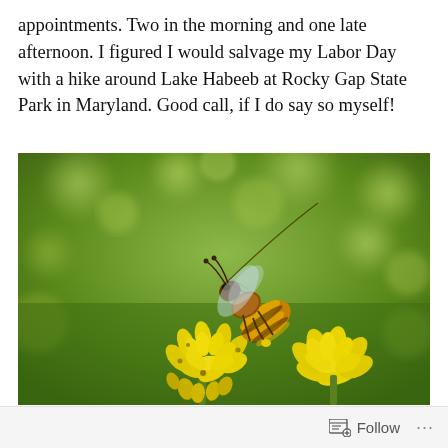appointments. Two in the morning and one late afternoon. I figured I would salvage my Labor Day with a hike around Lake Habeeb at Rocky Gap State Park in Maryland. Good call, if I do say so myself!
[Figure (photo): Close-up macro photograph of a honey bee on bright yellow flowers (clover-like blossoms) with a blurred green background, taken at Rocky Gap State Park in Maryland.]
Follow ...